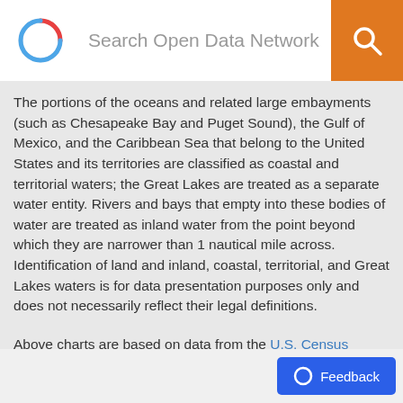Search Open Data Network
The portions of the oceans and related large embayments (such as Chesapeake Bay and Puget Sound), the Gulf of Mexico, and the Caribbean Sea that belong to the United States and its territories are classified as coastal and territorial waters; the Great Lakes are treated as a separate water entity. Rivers and bays that empty into these bodies of water are treated as inland water from the point beyond which they are narrower than 1 nautical mile across. Identification of land and inland, coastal, territorial, and Great Lakes waters is for data presentation purposes only and does not necessarily reflect their legal definitions.
Above charts are based on data from the U.S. Census American Community Survey | ODN Dataset | API -